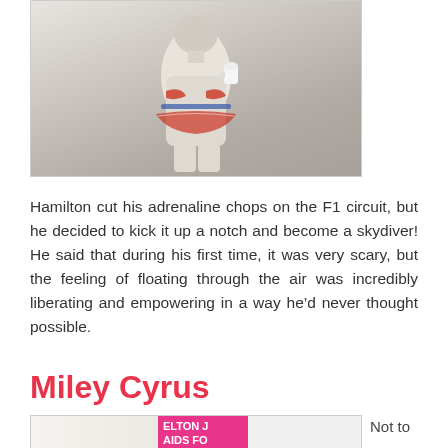[Figure (photo): Photo of a person in a white racing suit with red/orange markings, with racing suit jacket tied around waist, from behind/side angle]
Hamilton cut his adrenaline chops on the F1 circuit, but he decided to kick it up a notch and become a skydiver! He said that during his first time, it was very scary, but the feeling of floating through the air was incredibly liberating and empowering in a way he’d never thought possible.
Miley Cyrus
[Figure (photo): Partial photo showing a pink logo or graphic with text 'ELTON AIDS FO' visible, likely related to an Elton John AIDS Foundation event; text 'Not to' appears to the right]